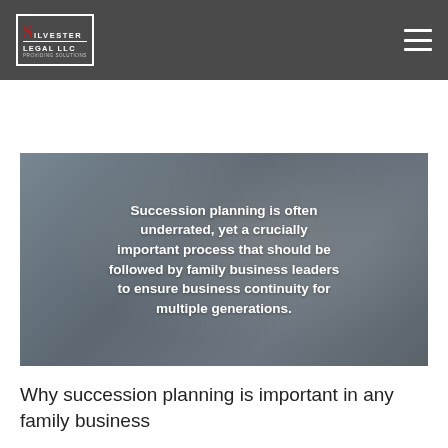Silvester Legal LLC — navigation bar with logo and hamburger menu
[Figure (photo): Dark-tinted photo of family business people in a workshop setting, overlaid with bold white text about succession planning]
Why succession planning is important in any family business